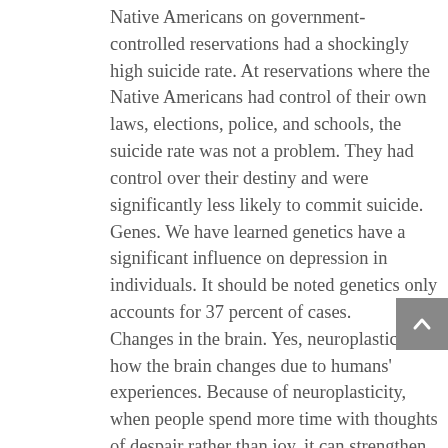Native Americans on government-controlled reservations had a shockingly high suicide rate. At reservations where the Native Americans had control of their own laws, elections, police, and schools, the suicide rate was not a problem. They had control over their destiny and were significantly less likely to commit suicide. Genes. We have learned genetics have a significant influence on depression in individuals. It should be noted genetics only accounts for 37 percent of cases. Changes in the brain. Yes, neuroplasticity is how the brain changes due to humans' experiences. Because of neuroplasticity, when people spend more time with thoughts of despair rather than joy, it can strengthen or even create chronic negative feelings. Third, social prescriptions are a great way to help people with depression by helping people feel valued and connected. According to Hari's research, the best solution for depression is a social prescription. Hari is suggesting that